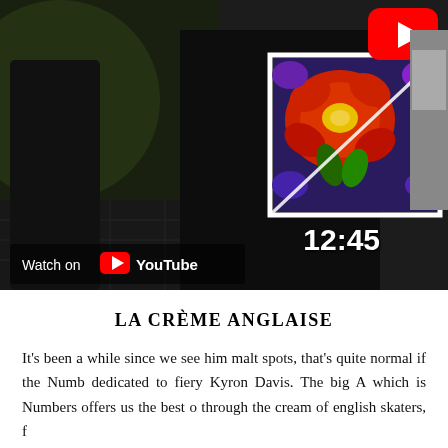[Figure (screenshot): YouTube video thumbnail showing a skateboarder wearing a Supreme floral print sweatshirt at night, with a video duration of 12:45 shown in white text, a red YouTube play button in the top right corner, and a 'Watch on YouTube' overlay badge at the bottom left.]
LA CRÈME ANGLAISE
It's been a while since we see him malting spots, that's quite normal if the Numbers dedicated to fiery Kyron Davis. The big An which is Numbers offers us the best o through the cream of english skaters, f